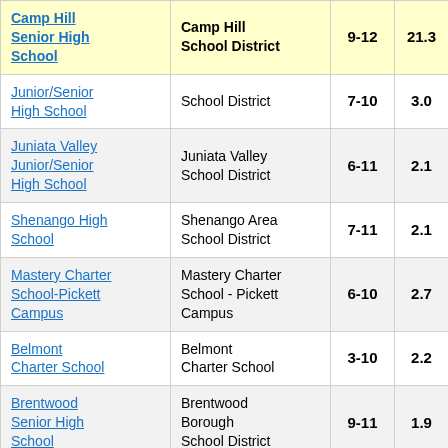| School | District | Grades | Value |  |
| --- | --- | --- | --- | --- |
| Camp Hill Senior High School | Camp Hill School District | 9-12 | 21.3 |  |
| Junior/Senior High School | School District | 7-10 | 3.0 |  |
| Juniata Valley Junior/Senior High School | Juniata Valley School District | 6-11 | 2.1 |  |
| Shenango High School | Shenango Area School District | 7-11 | 2.1 |  |
| Mastery Charter School-Pickett Campus | Mastery Charter School - Pickett Campus | 6-10 | 2.7 |  |
| Belmont Charter School | Belmont Charter School | 3-10 | 2.2 |  |
| Brentwood Senior High School | Brentwood Borough School District | 9-11 | 1.9 |  |
| ... | A... |  |  |  |